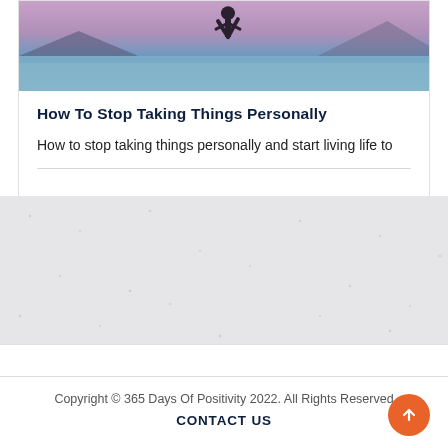[Figure (photo): Photo of a person jumping or doing a handstand at sunset by the ocean with mountains in the background, pink and blue sky]
How To Stop Taking Things Personally
How to stop taking things personally and start living life to
[Figure (photo): Textured grey speckled background area]
Copyright © 365 Days Of Positivity 2022. All Rights Reserved
CONTACT US